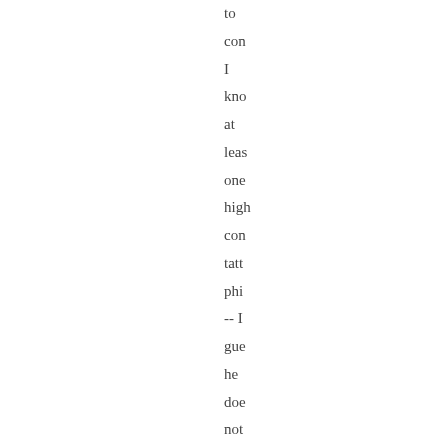to con I kno at leas one high con tatt phi -- I gue he doe not mal a poi of kee it a sec r